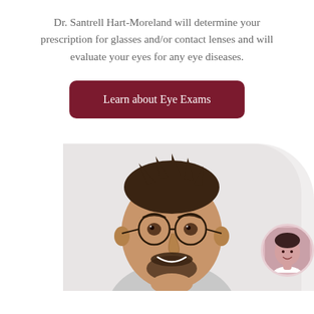Dr. Santrell Hart-Moreland will determine your prescription for glasses and/or contact lenses and will evaluate your eyes for any eye diseases.
Learn about Eye Exams
[Figure (photo): A smiling man with round glasses and a beard, wearing casual clothes, posing against a light grey background. A small circular inset photo of a woman (presumably the doctor) is visible in the lower right corner.]